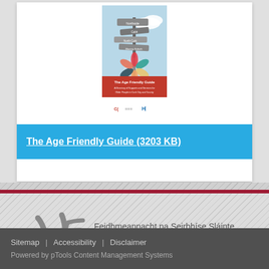[Figure (illustration): Book cover thumbnail for 'The Age Friendly Guide' showing signpost directions and HSE/Cork logos]
The Age Friendly Guide (3203 KB)
[Figure (logo): HSE - Feidhmeannacht na Seirbhíse Sláinte Health Service Executive logo]
Sitemap | Accessibility | Disclaimer
Powered by pTools Content Management Systems